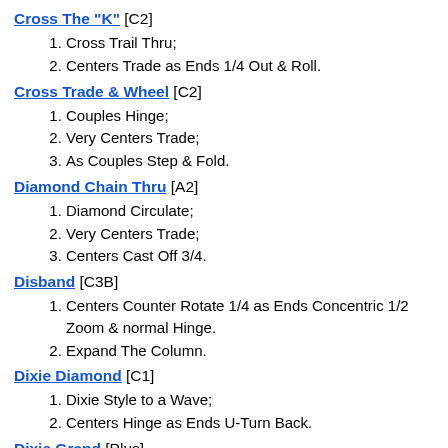Cross The "K" [C2]
Cross Trail Thru;
Centers Trade as Ends 1/4 Out & Roll.
Cross Trade & Wheel [C2]
Couples Hinge;
Very Centers Trade;
As Couples Step & Fold.
Diamond Chain Thru [A2]
Diamond Circulate;
Very Centers Trade;
Centers Cast Off 3/4.
Disband [C3B]
Centers Counter Rotate 1/4 as Ends Concentric 1/2 Zoom & normal Hinge.
Expand The Column.
Dixie Diamond [C1]
Dixie Style to a Wave;
Centers Hinge as Ends U-Turn Back.
Dixie Grand [Plus]